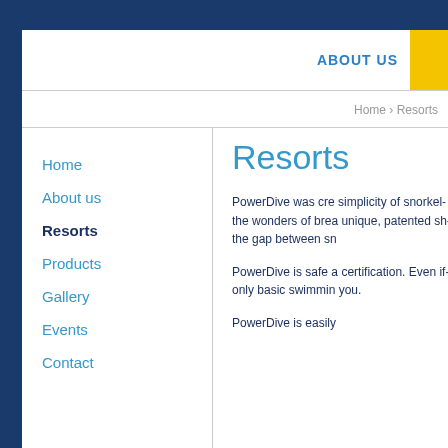ABOUT US
Home › Resorts
Home
About us
Resorts
Products
Gallery
Events
Contact
Resorts
PowerDive was cre... simplicity of snorke... the wonders of brea... unique, patented sh... the gap between sn...
PowerDive is safe a... certification. Even if... only basic swimmin... you.
PowerDive is easily...